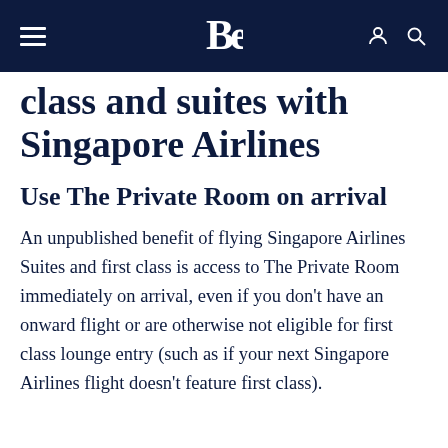BE [logo] (navigation bar)
class and suites with Singapore Airlines
Use The Private Room on arrival
An unpublished benefit of flying Singapore Airlines Suites and first class is access to The Private Room immediately on arrival, even if you don't have an onward flight or are otherwise not eligible for first class lounge entry (such as if your next Singapore Airlines flight doesn't feature first class).